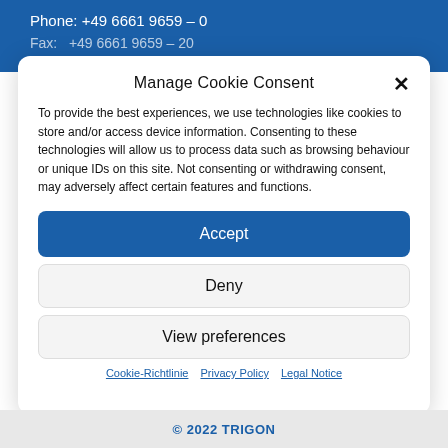Phone: +49 6661 9659 – 0
Manage Cookie Consent
To provide the best experiences, we use technologies like cookies to store and/or access device information. Consenting to these technologies will allow us to process data such as browsing behaviour or unique IDs on this site. Not consenting or withdrawing consent, may adversely affect certain features and functions.
Accept
Deny
View preferences
Cookie-Richtlinie   Privacy Policy   Legal Notice
© 2022 TRIGON